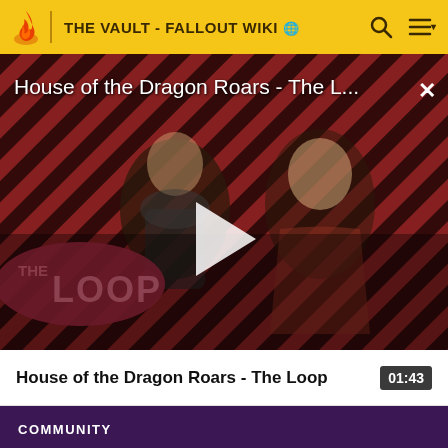THE VAULT - FALLOUT WIKI
[Figure (screenshot): Video thumbnail for 'House of the Dragon Roars - The L...' showing two characters from House of the Dragon TV series against a red and black diagonal striped background with 'THE LOOP' branding. A white play button triangle is centered over the image.]
House of the Dragon Roars - The L...
House of the Dragon Roars - The Loop  01:43
COMMUNITY
Community Central
Help